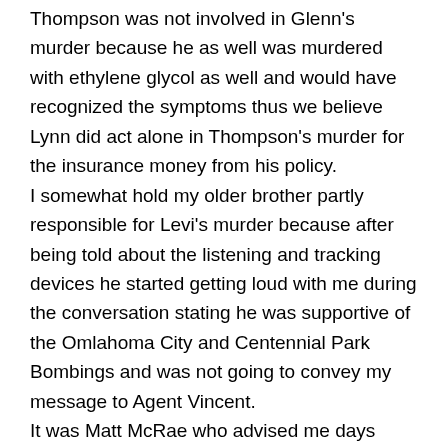Thompson was not involved in Glenn's murder because he as well was murdered with ethylene glycol as well and would have recognized the symptoms thus we believe Lynn did act alone in Thompson's murder for the insurance money from his policy. I somewhat hold my older brother partly responsible for Levi's murder because after being told about the listening and tracking devices he started getting loud with me during the conversation stating he was supportive of the Omlahoma City and Centennial Park Bombings and was not going to convey my message to Agent Vincent. It was Matt McRae who advised me days after Levi's murder that they were responsible for